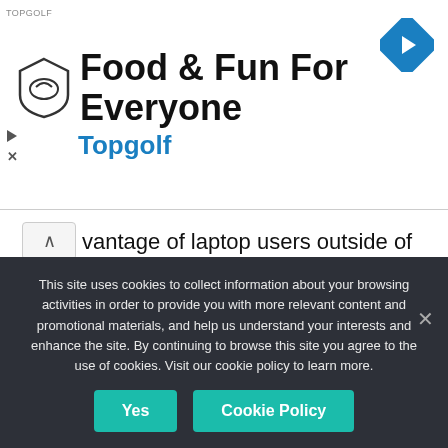[Figure (advertisement): Topgolf advertisement banner with logo, title 'Food & Fun For Everyone', navigation arrow icon, and play/close controls]
vantage of laptop users outside of secure corporate networks — even gaining physical access to unattended devices. ... Read more
Technology
Leave a comment
This site uses cookies to collect information about your browsing activities in order to provide you with more relevant content and promotional materials, and help us understand your interests and enhance the site. By continuing to browse this site you agree to the use of cookies. Visit our cookie policy to learn more.